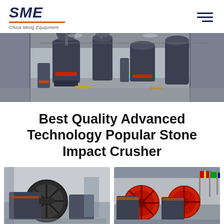SME — China Minig Equipment
[Figure (photo): Industrial mining equipment factory floor showing multiple large crusher and grinding machines in a large warehouse facility]
Best Quality Advanced Technology Popular Stone Impact Crusher
[Figure (photo): Stone impact crusher machine with large black flywheel in industrial setting]
[Figure (photo): Multiple stone impact crusher machines with red flywheels in a factory hall with flags]